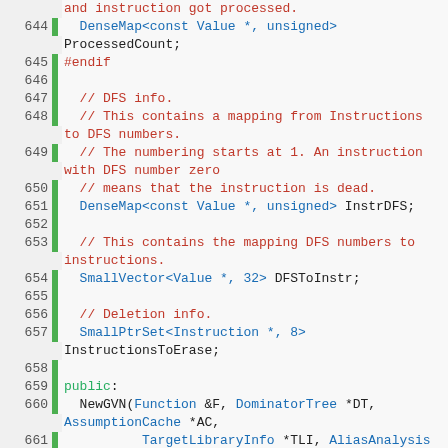[Figure (screenshot): Source code listing (C++) showing lines 644-666 of a file, with syntax highlighting. Green gutter bar on left, line numbers, code in blue/red/green/black.]